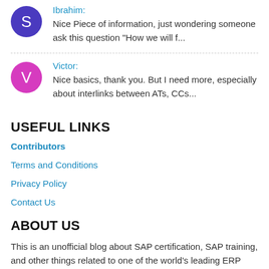Ibrahim: Nice Piece of information, just wondering someone ask this question "How we will f...
Victor: Nice basics, thank you. But I need more, especially about interlinks between ATs, CCs...
USEFUL LINKS
Contributors
Terms and Conditions
Privacy Policy
Contact Us
ABOUT US
This is an unofficial blog about SAP certification, SAP training, and other things related to one of the world's leading ERP system.
This blog is independent and NOT affiliated with SAP SE (the company